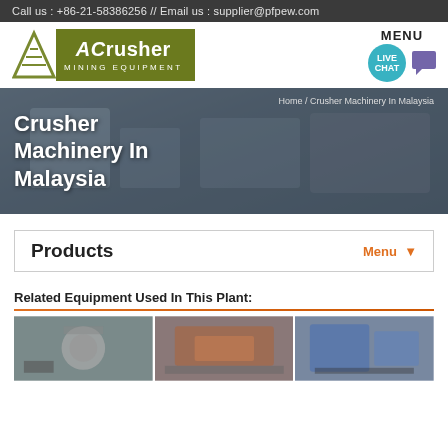Call us : +86-21-58386256 // Email us : supplier@pfpew.com
[Figure (logo): ACrusher Mining Equipment logo with triangle icon and olive green text box]
[Figure (illustration): MENU and LIVE CHAT button with chat bubble icon]
[Figure (photo): Hero banner background showing industrial crusher machinery]
Crusher Machinery In Malaysia
Home / Crusher Machinery In Malaysia
Products
Menu ▼
Related Equipment Used In This Plant:
[Figure (photo): Three photos of crusher machinery equipment in a horizontal strip]